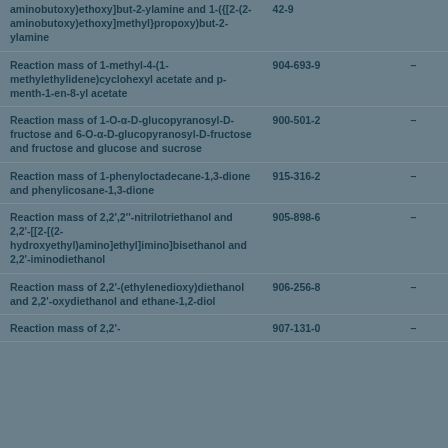| Name | EC Number | CAS |
| --- | --- | --- |
| aminobutoxy)ethoxy]but-2-ylamine and 1-({[2-(2-aminobutoxy)ethoxy]methyl}propoxy)but-2-ylamine | 42-9 | - |
| Reaction mass of 1-methyl-4-(1-methylethylidene)cyclohexyl acetate and p-menth-1-en-8-yl acetate | 904-693-9 | - |
| Reaction mass of 1-O-α-D-glucopyranosyl-D-fructose and 6-O-α-D-glucopyranosyl-D-fructose and fructose and glucose and sucrose | 900-501-2 | - |
| Reaction mass of 1-phenyloctadecane-1,3-dione and phenylicosane-1,3-dione | 915-316-2 | - |
| Reaction mass of 2,2',2''-nitrilotriethanol and 2,2'-[[2-[(2-hydroxyethyl)amino]ethyl]imino]bisethanol and 2,2'-iminodiethanol | 905-898-6 | - |
| Reaction mass of 2,2'-(ethylenedioxy)diethanol and 2,2'-oxydiethanol and ethane-1,2-diol | 906-256-8 | - |
| Reaction mass of 2,2'- | 907-131-0 | - |